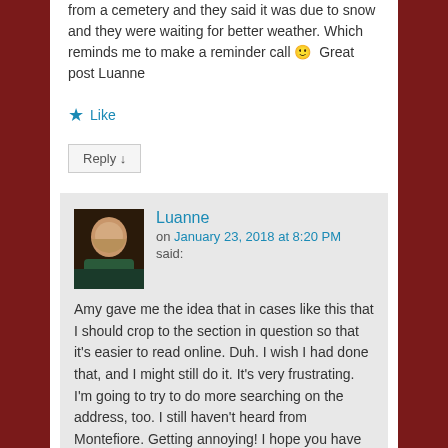from a cemetery and they said it was due to snow and they were waiting for better weather. Which reminds me to make a reminder call 🙂 Great post Luanne
★ Like
Reply ↓
Luanne on January 23, 2018 at 8:20 PM said:
Amy gave me the idea that in cases like this that I should crop to the section in question so that it's easier to read online. Duh. I wish I had done that, and I might still do it. It's very frustrating. I'm going to try to do more searching on the address, too. I still haven't heard from Montefiore. Getting annoying! I hope you have better